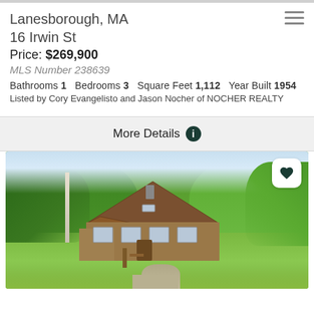Lanesborough, MA
16 Irwin St
Price: $269,900
MLS Number 238639
Bathrooms 1   Bedrooms 3   Square Feet 1,112   Year Built 1954
Listed by Cory Evangelisto and Jason Nocher of NOCHER REALTY
More Details
[Figure (photo): Exterior photo of a brown wooden house with A-frame roof, surrounded by dense green trees and foliage. A driveway leads to the front. A favorite (heart) button is visible in the top-right corner of the photo.]